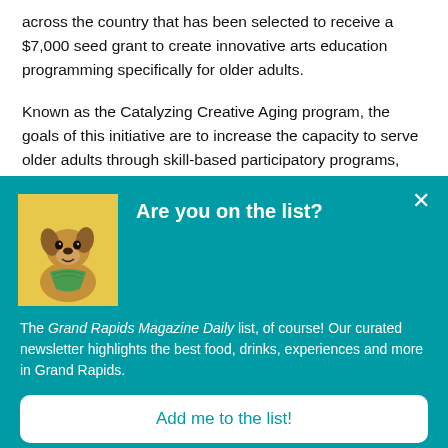across the country that has been selected to receive a $7,000 seed grant to create innovative arts education programming specifically for older adults.
Known as the Catalyzing Creative Aging program, the goals of this initiative are to increase the capacity to serve older adults through skill-based participatory programs, provide
[Figure (other): Popup/modal overlay with teal background. Contains a photo of a dog wearing a bandana on a yellow background, a bold white heading 'Are you on the list?', body text about Grand Rapids Magazine Daily newsletter, and a white 'Add me to the list!' button.]